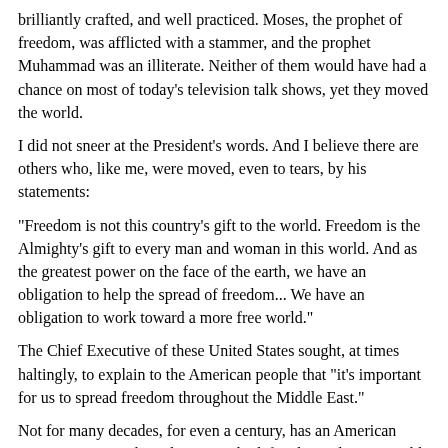brilliantly crafted, and well practiced. Moses, the prophet of freedom, was afflicted with a stammer, and the prophet Muhammad was an illiterate. Neither of them would have had a chance on most of today's television talk shows, yet they moved the world.
I did not sneer at the President's words. And I believe there are others who, like me, were moved, even to tears, by his statements:
"Freedom is not this country's gift to the world. Freedom is the Almighty's gift to every man and woman in this world. And as the greatest power on the face of the earth, we have an obligation to help the spread of freedom... We have an obligation to work toward a more free world."
The Chief Executive of these United States sought, at times haltingly, to explain to the American people that "it's important for us to spread freedom throughout the Middle East."
Not for many decades, for even a century, has an American statesman so simply and necessarily defined our place in world history. As I explained to my son, other admirable American leaders fought to defend our freedoms -- only rarely, and at great risk, did they commit our nation to the defense, nay, the extension of freedom far from our borders, in places where most of us would never set foot.